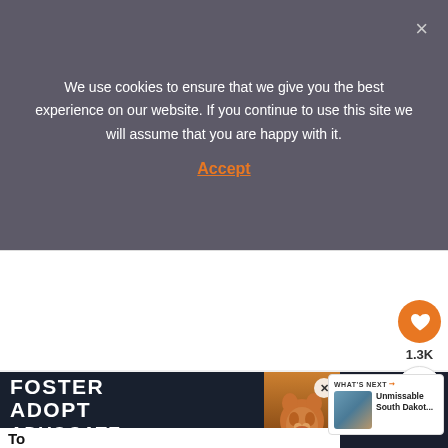We use cookies to ensure that we give you the best experience on our website. If you continue to use this site we will assume that you are happy with it.
Accept
[Figure (screenshot): White content area placeholder below cookie banner]
[Figure (infographic): Orange heart button with 1.3K count and share button on sidebar]
[Figure (infographic): What's Next card with landscape thumbnail - Unmissable South Dakot...]
[Figure (screenshot): Advertisement banner: Foster Adopt Advocate with dog image on dark background]
[Figure (infographic): Weather widget showing thermometer icon on dark background]